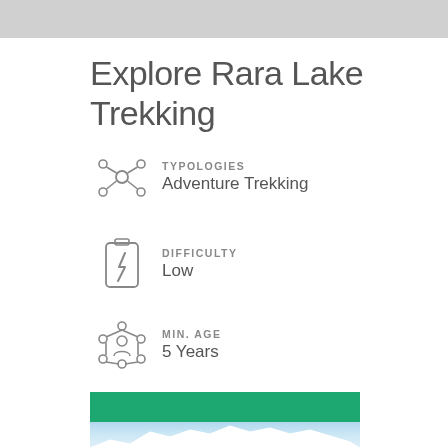Explore Rara Lake Trekking
TYPOLOGIES
Adventure Trekking
DIFFICULTY
Low
MIN. AGE
5 Years
[Figure (photo): Green colored band representing a lake or landscape]
[Figure (photo): Snow-capped mountain range under blue sky]